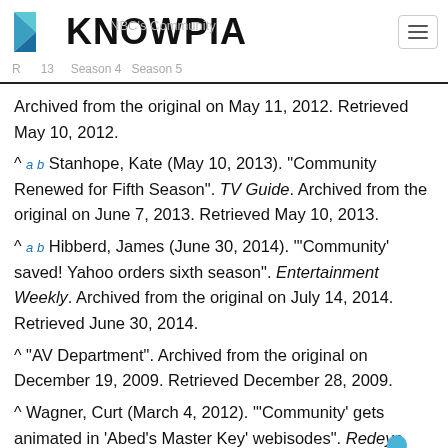KNOWPIA
Archived from the original on May 11, 2012. Retrieved May 10, 2012.
^ a b Stanhope, Kate (May 10, 2013). "Community Renewed for Fifth Season". TV Guide. Archived from the original on June 7, 2013. Retrieved May 10, 2013.
^ a b Hibberd, James (June 30, 2014). "'Community' saved! Yahoo orders sixth season". Entertainment Weekly. Archived from the original on July 14, 2014. Retrieved June 30, 2014.
^ "AV Department". Archived from the original on December 19, 2009. Retrieved December 28, 2009.
^ Wagner, Curt (March 4, 2012). "'Community' gets animated in 'Abed's Master Key' webisodes". Redeye Chicago. Archived from the original on June 16, 2013. Retrieved March 2, 2012.